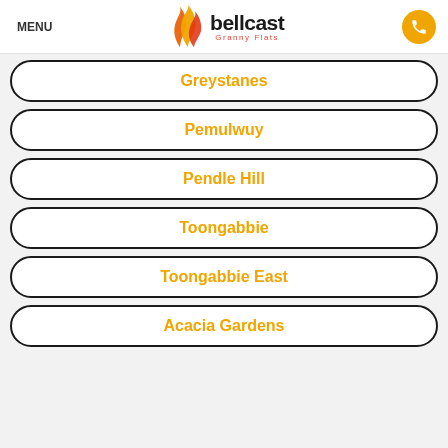MENU | bellcast Granny Flats
Greystanes
Pemulwuy
Pendle Hill
Toongabbie
Toongabbie East
Acacia Gardens